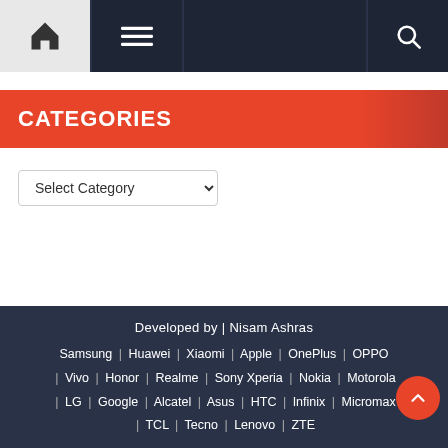Navigation bar with home icon, menu icon, and search icon
CATEGORIES
Select Category
Developed by | Nisam Ashras | Samsung | Huawei | Xiaomi | Apple | OnePlus | OPPO | Vivo | Honor | Realme | Sony Xperia | Nokia | Motorola | LG | Google | Alcatel | Asus | HTC | Infinix | Micromax | TCL | Tecno | Lenovo | ZTE